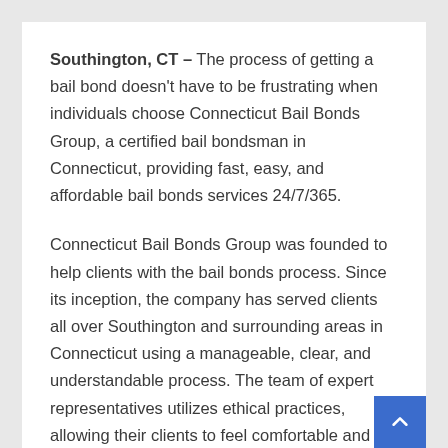Southington, CT – The process of getting a bail bond doesn't have to be frustrating when individuals choose Connecticut Bail Bonds Group, a certified bail bondsman in Connecticut, providing fast, easy, and affordable bail bonds services 24/7/365.
Connecticut Bail Bonds Group was founded to help clients with the bail bonds process. Since its inception, the company has served clients all over Southington and surrounding areas in Connecticut using a manageable, clear, and understandable process. The team of expert representatives utilizes ethical practices, allowing their clients to feel comfortable and